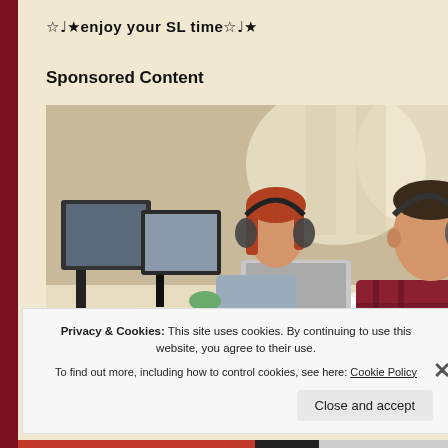☆♩★enjoy your SL time☆♩★
Sponsored Content
[Figure (photo): Two people sitting at desks with computers and headphones in a bright office environment. A woman with red hair is in the background and a man in a plaid shirt is in the foreground.]
Privacy & Cookies: This site uses cookies. By continuing to use this website, you agree to their use.
To find out more, including how to control cookies, see here: Cookie Policy
Close and accept